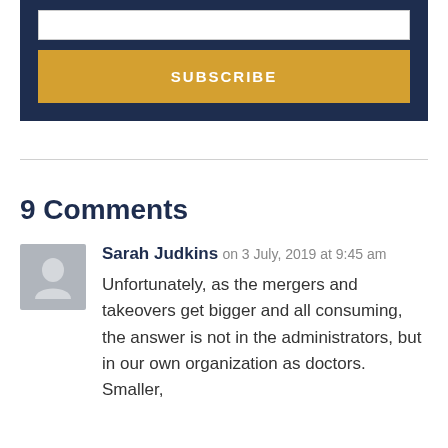[Figure (other): Subscribe box with input field and orange SUBSCRIBE button on dark navy background]
9 Comments
Sarah Judkins on 3 July, 2019 at 9:45 am
Unfortunately, as the mergers and takeovers get bigger and all consuming, the answer is not in the administrators, but in our own organization as doctors. Smaller,